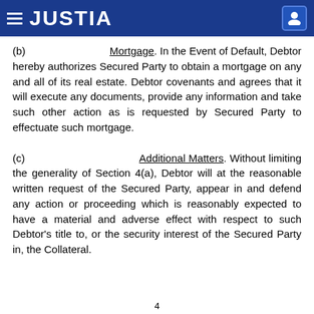JUSTIA
(b) Mortgage. In the Event of Default, Debtor hereby authorizes Secured Party to obtain a mortgage on any and all of its real estate. Debtor covenants and agrees that it will execute any documents, provide any information and take such other action as is requested by Secured Party to effectuate such mortgage.
(c) Additional Matters. Without limiting the generality of Section 4(a), Debtor will at the reasonable written request of the Secured Party, appear in and defend any action or proceeding which is reasonably expected to have a material and adverse effect with respect to such Debtor's title to, or the security interest of the Secured Party in, the Collateral.
4